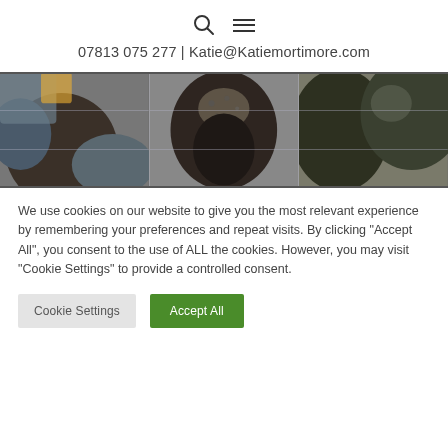07813 075 277 | Katie@Katiemortimore.com
[Figure (photo): Close-up photo of avocados shown in three panels with subtle grid lines overlay]
We use cookies on our website to give you the most relevant experience by remembering your preferences and repeat visits. By clicking "Accept All", you consent to the use of ALL the cookies. However, you may visit "Cookie Settings" to provide a controlled consent.
Cookie Settings | Accept All